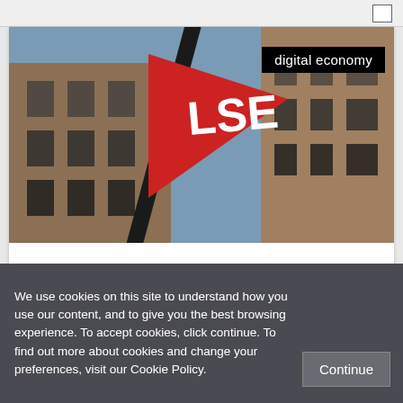[Figure (photo): Photo of the LSE building exterior with a large red triangular LSE sign/flag visible against a brick building facade and blue sky. A black overlay tag reads 'digital economy' in the top right corner.]
Media Policy in 2013: reflections from a policy workshop held at LSE
We use cookies on this site to understand how you use our content, and to give you the best browsing experience. To accept cookies, click continue. To find out more about cookies and change your preferences, visit our Cookie Policy.